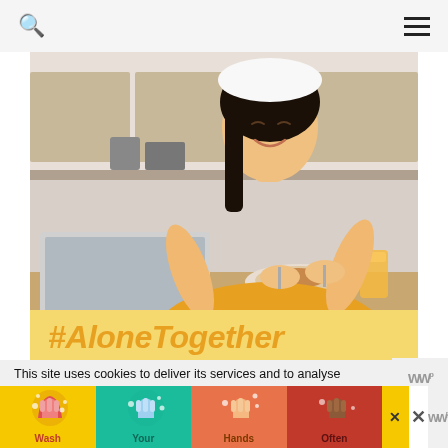Search and menu navigation header
[Figure (photo): Woman in yellow/mustard top sitting at a kitchen table, smiling, eating a meal with a laptop open in front of her. A glass of orange juice is on the table. Kitchen background.]
#AloneTogether
This site uses cookies to deliver its services and to analyse traffic. By using this site, you agree to its use of cookies. Learn more
[Figure (other): OK button - black rectangular button with white text 'OK']
[Figure (infographic): Wash Your Hands Often advertisement banner with four hand-washing icons in different skin tones on colored backgrounds (yellow, teal, orange, red). Close/X button visible.]